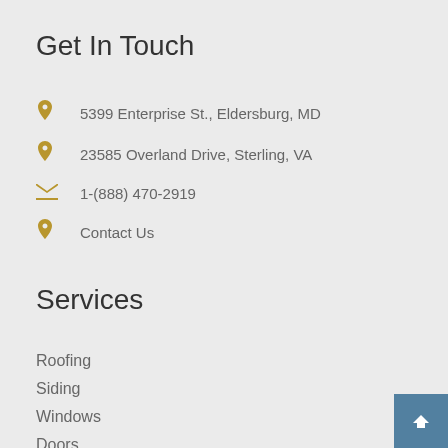Get In Touch
5399 Enterprise St., Eldersburg, MD
23585 Overland Drive, Sterling, VA
1-(888) 470-2919
Contact Us
Services
Roofing
Siding
Windows
Doors
Gutters